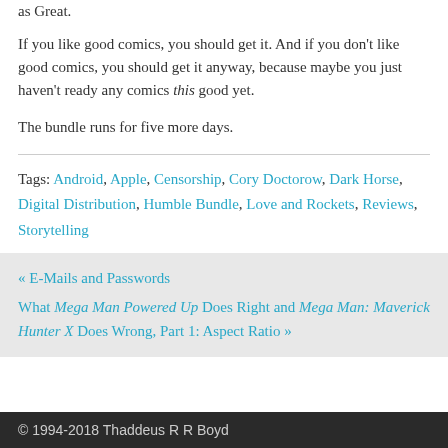as Great.
If you like good comics, you should get it. And if you don't like good comics, you should get it anyway, because maybe you just haven't ready any comics this good yet.
The bundle runs for five more days.
Tags: Android, Apple, Censorship, Cory Doctorow, Dark Horse, Digital Distribution, Humble Bundle, Love and Rockets, Reviews, Storytelling
« E-Mails and Passwords
What Mega Man Powered Up Does Right and Mega Man: Maverick Hunter X Does Wrong, Part 1: Aspect Ratio »
© 1994-2018 Thaddeus R R Boyd